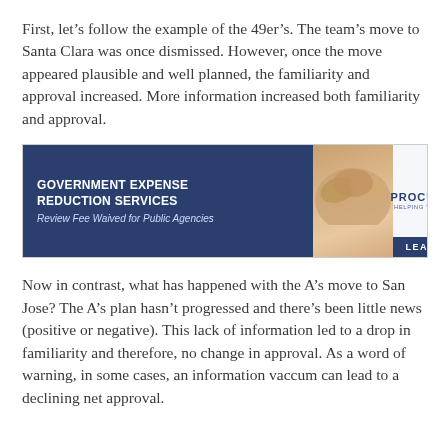First, let's follow the example of the 49er's. The team's move to Santa Clara was once dismissed. However, once the move appeared plausible and well planned, the familiarity and approval increased. More information increased both familiarity and approval.
[Figure (infographic): Advertisement banner for ProcureAmerica Government Expense Reduction Services. Left side has dark blue background with bold white text reading 'GOVERNMENT EXPENSE REDUCTION SERVICES' and italic text 'Review Fee Waived for Public Agencies'. Right side shows ProcureAmerica logo with snowflake icon and 'LEARN MORE' button at the bottom.]
Now in contrast, what has happened with the A's move to San Jose? The A's plan hasn't progressed and there's been little news (positive or negative). This lack of information led to a drop in familiarity and therefore, no change in approval. As a word of warning, in some cases, an information vaccum can lead to a declining net approval.